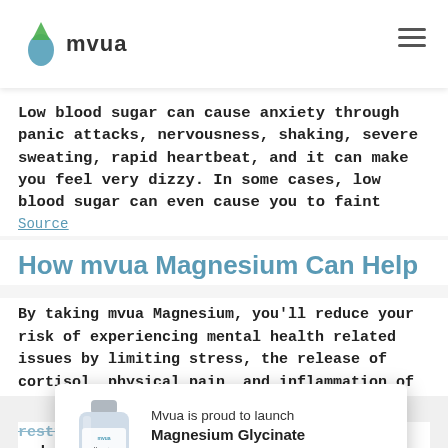mvua
Low blood sugar can cause anxiety through panic attacks, nervousness, shaking, severe sweating, rapid heartbeat, and it can make you feel very dizzy. In some cases, low blood sugar can even cause you to faint
Source
How mvua Magnesium Can Help
By taking mvua Magnesium, you'll reduce your risk of experiencing mental health related issues by limiting stress, the release of cortisol, physical pain, and inflammation of the body. In result, you're likely to increase your brain plasticity, receive a more restful sleep, stabilize your blood sugar and begin to live y...
[Figure (other): Popup advertisement showing a bottle of Mvua Magnesium Glycinate supplement with text 'Mvua is proud to launch Magnesium Glycinate' and a green 'Buy Now' button]
SUBSCRIBE OUR NEWSLETTER